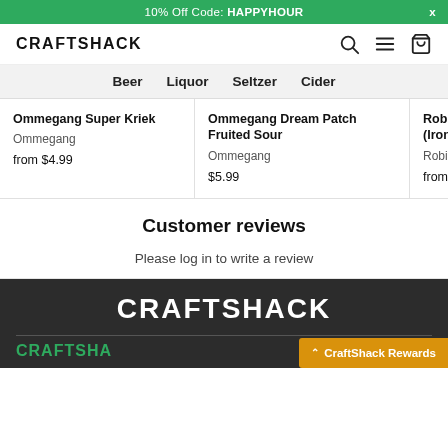10% Off Code: HAPPYHOUR  X
CRAFTSHACK
Beer  Liquor  Seltzer  Cider
Ommegang Super Kriek
Ommegang
from $4.99
Ommegang Dream Patch Fruited Sour
Ommegang
$5.99
Robinsons Trod (Iron Maiden Be...
Robinsons Brew...
from $4.99
Customer reviews
Please log in to write a review
CRAFTSHACK
CRAFTSHA